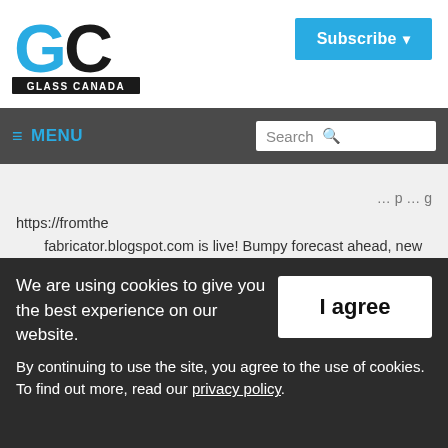[Figure (logo): Glass Canada GC logo with blue and black letters and black bar]
Subscribe ▾
≡ MENU   Search 🔍
https://fromthe fabricator.blogspot.com is live! Bumpy forecast ahead, new pod episode with 2 very cool guys, big PV news, who's coming to #glasstec and more. Thanks for reading/listening/watching! #glass
Twitter
We are using cookies to give you the best experience on our website. By continuing to use the site, you agree to the use of cookies. To find out more, read our privacy policy.
I agree